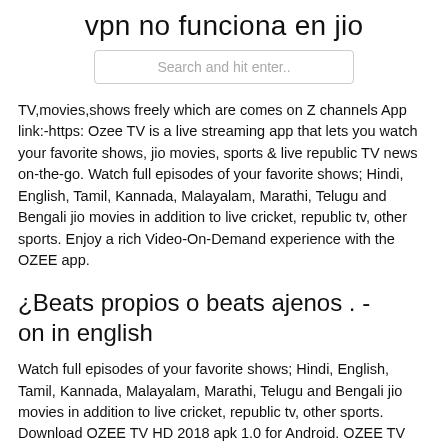vpn no funciona en jio
Search and hit enter..
TV,movies,shows freely which are comes on Z channels App link:-https: Ozee TV is a live streaming app that lets you watch your favorite shows, jio movies, sports & live republic TV news on-the-go. Watch full episodes of your favorite shows; Hindi, English, Tamil, Kannada, Malayalam, Marathi, Telugu and Bengali jio movies in addition to live cricket, republic tv, other sports. Enjoy a rich Video-On-Demand experience with the OZEE app.
¿Beats propios o beats ajenos . - on in english
Watch full episodes of your favorite shows; Hindi, English, Tamil, Kannada, Malayalam, Marathi, Telugu and Bengali jio movies in addition to live cricket, republic tv, other sports. Download OZEE TV HD 2018 apk 1.0 for Android. OZEE TV HD 2018 Download HD OZEE TV CHANNELS apk 8.2 for Android. watch Indian LIVE TV channels and Catch-Ups of TV